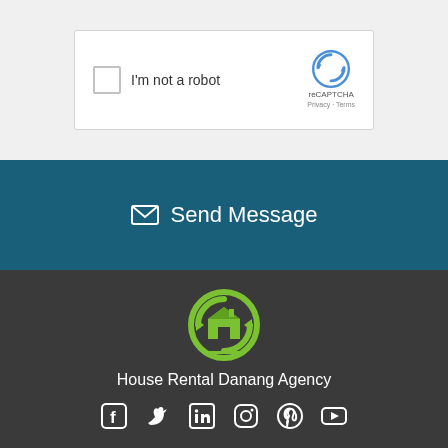[Figure (screenshot): reCAPTCHA widget with checkbox labeled 'I'm not a robot' and reCAPTCHA logo with Privacy and Terms links]
Send Message
[Figure (logo): House Rental Danang Agency logo - green circular arrow with house icon]
House Rental Danang Agency
[Figure (infographic): Social media icons: Facebook, Twitter, LinkedIn, Instagram, Pinterest, YouTube]
[Figure (logo): House Rental Danang Agency small logo]
House Rental Danang Agency
[Figure (infographic): Green email/envelope button in bottom right corner]